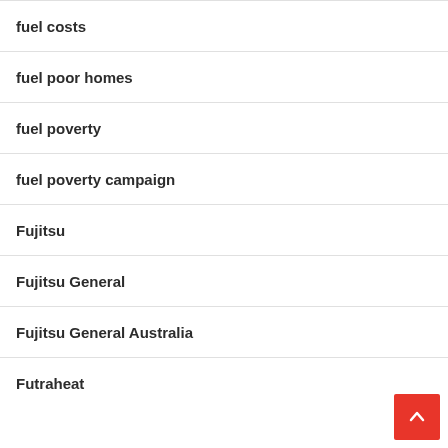fuel costs
fuel poor homes
fuel poverty
fuel poverty campaign
Fujitsu
Fujitsu General
Fujitsu General Australia
Futraheat